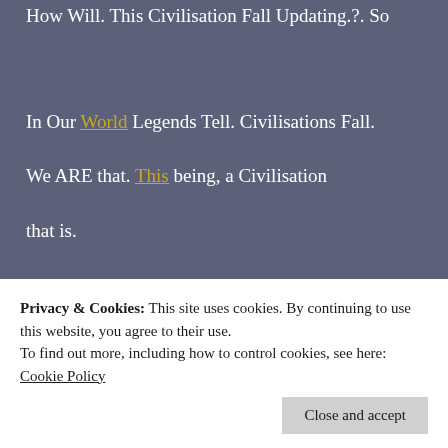How Will. This Civilisation Fall Updating.?. So
In Our World Legends Tell. Civilisations Fall.
We ARE that. This being, a Civilisation
that is.
[Figure (photo): A strip of old wooden planks or book spines with aged, weathered texture in beige and brown tones.]
Privacy & Cookies: This site uses cookies. By continuing to use this website, you agree to their use.
To find out more, including how to control cookies, see here:
Cookie Policy
Close and accept